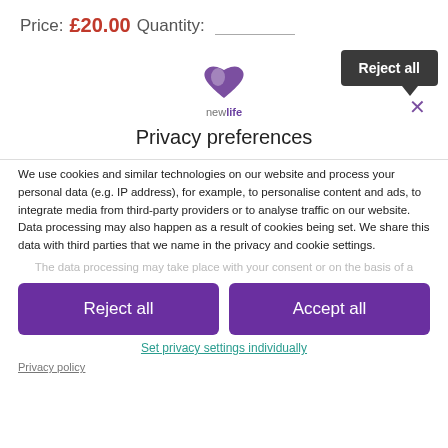Price: £20.00 Quantity:
Total payable
[Figure (logo): New Life charity logo - purple heart with text 'newlife']
Privacy preferences
We use cookies and similar technologies on our website and process your personal data (e.g. IP address), for example, to personalise content and ads, to integrate media from third-party providers or to analyse traffic on our website. Data processing may also happen as a result of cookies being set. We share this data with third parties that we name in the privacy and cookie settings.
The data processing may take place with your consent or on the basis of a
Reject all
Accept all
Set privacy settings individually
Privacy policy